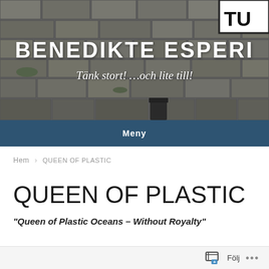[Figure (photo): Stone wall background with a street sign showing 'TU' in the top right corner. A person's hand and a trash bin are partially visible at the bottom. The blog header image for Benedikte Esperi.]
BENEDIKTE ESPERI
Tänk stort! …och lite till!
Meny
Hem > QUEEN OF PLASTIC
QUEEN OF PLASTIC
“Queen of Plastic Oceans – Without Royalty”
Följ ...